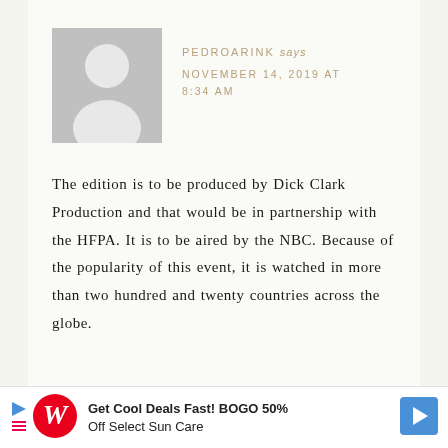[Figure (illustration): Generic grey avatar/placeholder image showing a white silhouette of a person on a grey background]
PEDROARINK says
NOVEMBER 14, 2019 AT 8:34 AM
The edition is to be produced by Dick Clark Production and that would be in partnership with the HFPA. It is to be aired by the NBC. Because of the popularity of this event, it is watched in more than two hundred and twenty countries across the globe.
[Figure (other): Walgreens advertisement banner: 'Get Cool Deals Fast! BOGO 50% Off Select Sun Care' with Walgreens logo and blue arrow icon]